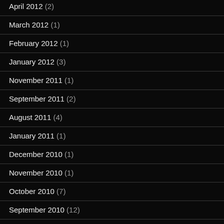April 2012 (2)
March 2012 (1)
February 2012 (1)
January 2012 (3)
November 2011 (1)
September 2011 (2)
August 2011 (4)
January 2011 (1)
December 2010 (1)
November 2010 (1)
October 2010 (7)
September 2010 (12)
November 2008 (1)